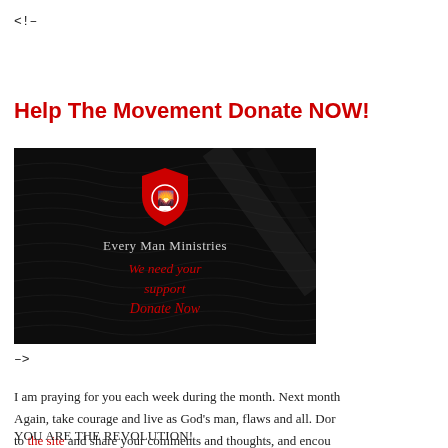<!-
Help The Movement Donate NOW!
[Figure (illustration): Every Man Ministries donation banner image on dark background with wavy lines. Shows a red shield logo with a lion, text 'Every Man Ministries' in white, and 'We need your support Donate Now' in red.]
-->
I am praying for you each week during the month. Next month Again, take courage and live as God's man, flaws and all. Dor to the site and share your comments and thoughts, and encou
YOU ARE THE REVOLUTION!